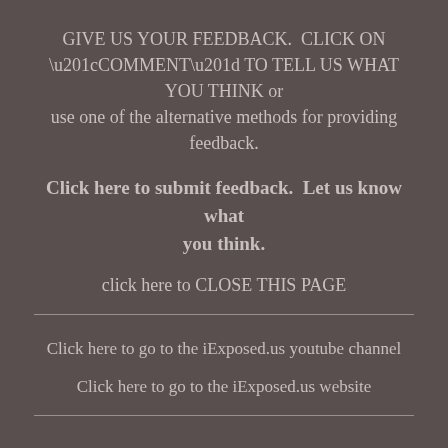GIVE US YOUR FEEDBACK.  CLICK ON “COMMENT” TO TELL US WHAT YOU THINK or use one of the alternative methods for providing feedback.
Click here to submit feedback.  Let us know what you think.
click here to CLOSE THIS PAGE
Click here to go to the iExposed.us youtube channel
Click here to go to the iExposed.us website